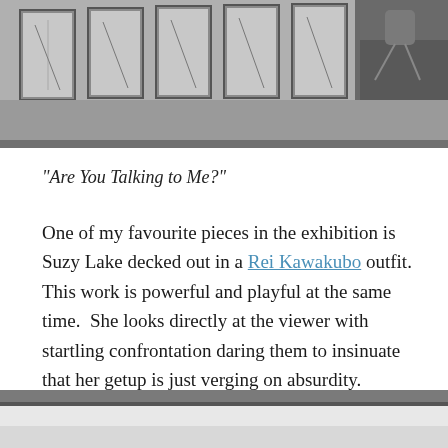[Figure (photo): Top portion of a black and white photograph showing framed portrait drawings hung on a gallery wall, with a person partially visible on the right side.]
“Are You Talking to Me?”
One of my favourite pieces in the exhibition is Suzy Lake decked out in a Rei Kawakubo outfit. This work is powerful and playful at the same time.  She looks directly at the viewer with startling confrontation daring them to insinuate that her getup is just verging on absurdity.
[Figure (photo): Bottom portion of a photograph, partially cropped, showing what appears to be a gallery or exhibition space.]